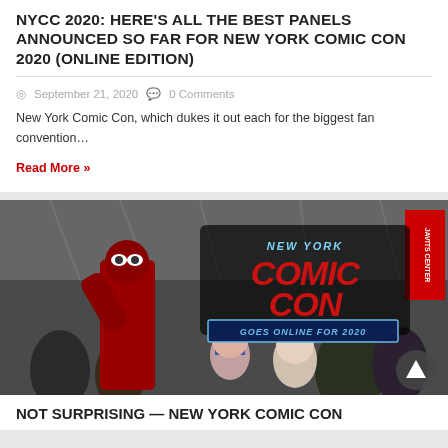NYCC 2020: HERE'S ALL THE BEST PANELS ANNOUNCED SO FAR FOR NEW YORK COMIC CON 2020 (ONLINE EDITION)
September 21, 2020   0 Comments
New York Comic Con, which dukes it out each for the biggest fan convention…
Read More »
[Figure (photo): Photo of cosplayers at New York Comic Con with a promotional banner reading 'NEW YORK COMIC CON GOES ONLINE FOR 2020'. A person in a Deadpool costume is prominent in the foreground.]
NOT SURPRISING — NEW YORK COMIC CON